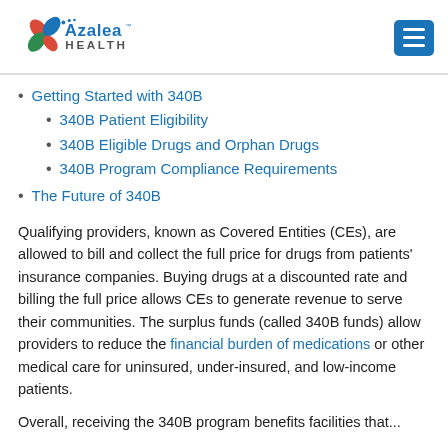Azalea Health
Getting Started with 340B
340B Patient Eligibility
340B Eligible Drugs and Orphan Drugs
340B Program Compliance Requirements
The Future of 340B
Qualifying providers, known as Covered Entities (CEs), are allowed to bill and collect the full price for drugs from patients' insurance companies. Buying drugs at a discounted rate and billing the full price allows CEs to generate revenue to serve their communities. The surplus funds (called 340B funds) allow providers to reduce the financial burden of medications or other medical care for uninsured, under-insured, and low-income patients.
Overall, receiving the 340B program benefits facilities that...